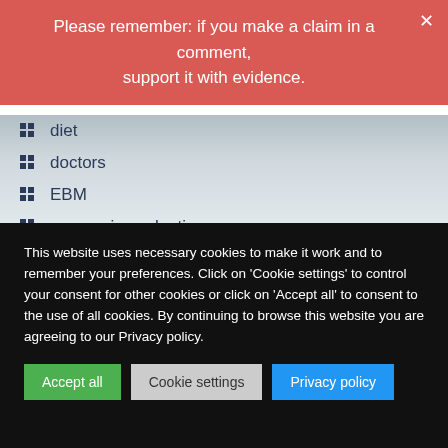Please remember: if you make a claim in a comment, support it with evidence.
diet
doctors
EBM
economic evaluation
eczema
education
Ernst's law
essential oil
evidence
experience
This website uses necessary cookies to make it work and to remember your preferences. Click on 'Cookie settings' to control your consent for other cookies or click on 'Accept all' to consent to the use of all cookies. By continuing to browse this website you are agreeing to our Privacy policy.